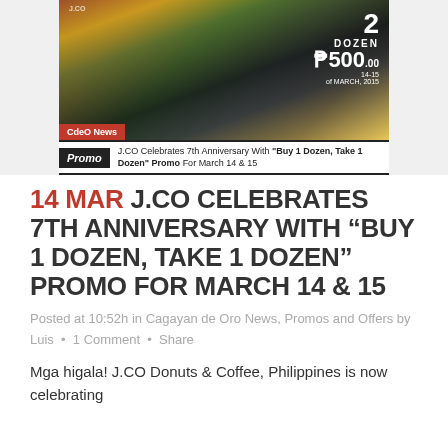[Figure (photo): Promotional banner image showing J.CO donuts and a '2 Dozen for 500' offer for March 14-15, with CdeO News label overlay]
Promo  J.CO Celebrates 7th Anniversary With "Buy 1 Dozen, Take 1 Dozen" Promo For March 14 & 15
14 MAR J.CO CELEBRATES 7TH ANNIVERSARY WITH “BUY 1 DOZEN, TAKE 1 DOZEN” PROMO FOR MARCH 14 & 15
Posted at 10:52h in Cagayan de Oro News, Promos and Offers by Luis  •  1 Comment  •  Share
Mga higala! J.CO Donuts & Coffee, Philippines is now celebrating